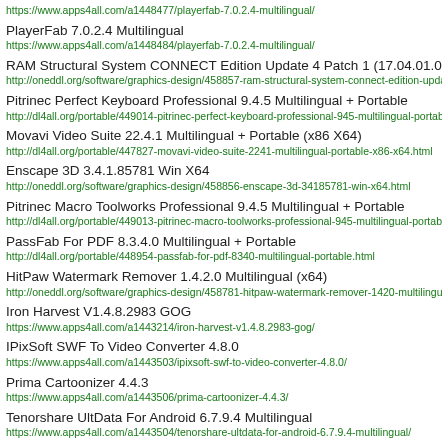https://www.apps4all.com/a1448477/playerfab-7.0.2.4-multilingual/
PlayerFab 7.0.2.4 Multilingual
https://www.apps4all.com/a1448484/playerfab-7.0.2.4-multilingual/
RAM Structural System CONNECT Edition Update 4 Patch 1 (17.04.01.0
http://oneddl.org/software/graphics-design/458857-ram-structural-system-connect-edition-updat
Pitrinec Perfect Keyboard Professional 9.4.5 Multilingual + Portable
http://dl4all.org/portable/449014-pitrinec-perfect-keyboard-professional-945-multilingual-portabl
Movavi Video Suite 22.4.1 Multilingual + Portable (x86 X64)
http://dl4all.org/portable/447827-movavi-video-suite-2241-multilingual-portable-x86-x64.html
Enscape 3D 3.4.1.85781 Win X64
http://oneddl.org/software/graphics-design/458856-enscape-3d-34185781-win-x64.html
Pitrinec Macro Toolworks Professional 9.4.5 Multilingual + Portable
http://dl4all.org/portable/449013-pitrinec-macro-toolworks-professional-945-multilingual-portable
PassFab For PDF 8.3.4.0 Multilingual + Portable
http://dl4all.org/portable/448954-passfab-for-pdf-8340-multilingual-portable.html
HitPaw Watermark Remover 1.4.2.0 Multilingual (x64)
http://oneddl.org/software/graphics-design/458781-hitpaw-watermark-remover-1420-multilingua
Iron Harvest V1.4.8.2983 GOG
https://www.apps4all.com/a1443214/iron-harvest-v1.4.8.2983-gog/
IPixSoft SWF To Video Converter 4.8.0
https://www.apps4all.com/a1443503/ipixsoft-swf-to-video-converter-4.8.0/
Prima Cartoonizer 4.4.3
https://www.apps4all.com/a1443506/prima-cartoonizer-4.4.3/
Tenorshare UltData For Android 6.7.9.4 Multilingual
https://www.apps4all.com/a1443504/tenorshare-ultdata-for-android-6.7.9.4-multilingual/
Adobe InDesign 2022 V17.4.0.51 (x64) Multilingual